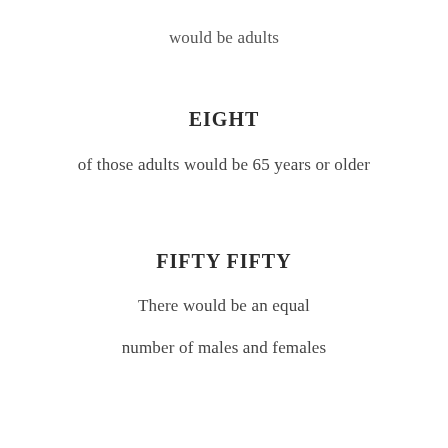would be adults
EIGHT
of those adults would be 65 years or older
FIFTY FIFTY
There would be an equal
number of males and females